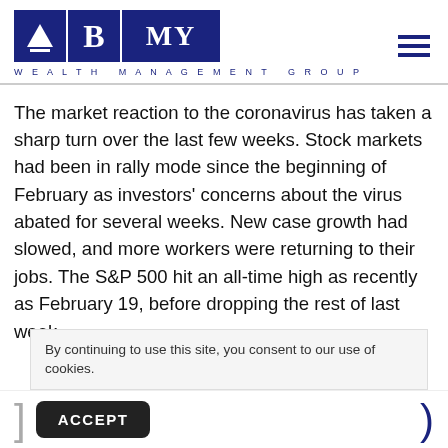[Figure (logo): BMY Wealth Management Group logo with three navy blue tiles showing a mountain/triangle icon, letter B, letters MY, and subtitle 'Wealth Management Group' in spaced letters]
The market reaction to the coronavirus has taken a sharp turn over the last few weeks. Stock markets had been in rally mode since the beginning of February as investors' concerns about the virus abated for several weeks. New case growth had slowed, and more workers were returning to their jobs. The S&P 500 hit an all-time high as recently as February 19, before dropping the rest of last week.
By continuing to use this site, you consent to our use of cookies.